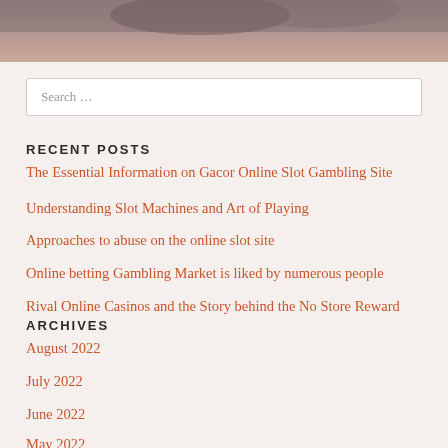[Figure (photo): Partial view of a person's face with hair, muted pinkish-gray tones, website header image]
Search …
RECENT POSTS
The Essential Information on Gacor Online Slot Gambling Site
Understanding Slot Machines and Art of Playing
Approaches to abuse on the online slot site
Online betting Gambling Market is liked by numerous people
Rival Online Casinos and the Story behind the No Store Reward
ARCHIVES
August 2022
July 2022
June 2022
May 2022